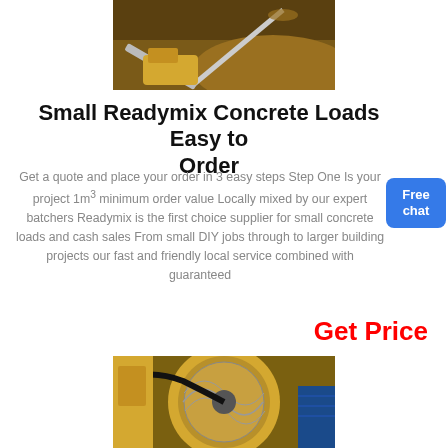[Figure (photo): Construction site with heavy machinery and conveyor belt moving aggregate material, large pile of gravel/sand in background.]
Small Readymix Concrete Loads Easy to Order
Get a quote and place your order in 3 easy steps Step One Is your project 1m³ minimum order value Locally mixed by our expert batchers Readymix is the first choice supplier for small concrete loads and cash sales From small DIY jobs through to larger building projects our fast and friendly local service combined with guaranteed
Get Price
[Figure (photo): Close-up of a yellow concrete mixer drum in a readymix concrete batching plant facility.]